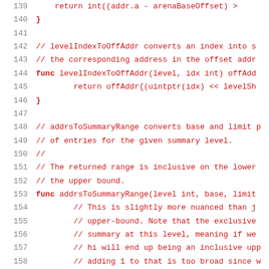139   return int((addr.a - arenaBaseOffset) >
140   }
141
142   // levelIndexToOffAddr converts an index into s
143   // the corresponding address in the offset addr
144   func levelIndexToOffAddr(level, idx int) offAdd
145           return offAddr{(uintptr(idx) << levelSh
146   }
147
148   // addrsToSummaryRange converts base and limit p
149   // of entries for the given summary level.
150   //
151   // The returned range is inclusive on the lower
152   // the upper bound.
153   func addrsToSummaryRange(level int, base, limit
154           // This is slightly more nuanced than j
155           // upper-bound. Note that the exclusive
156           // summary at this level, meaning if we
157           // hi will end up being an inclusive upp
158           // adding 1 to that is too broad since w
159           // of a summary's max page count bounda
160           // (1 << levelLogPages[level]). So, mak